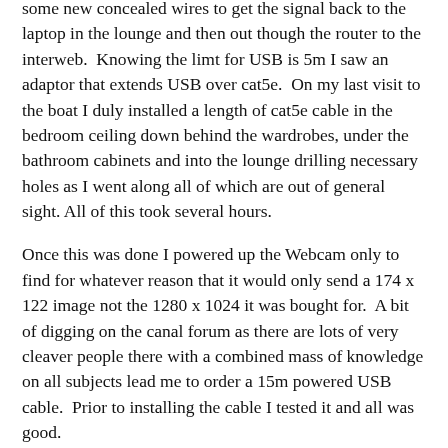some new concealed wires to get the signal back to the laptop in the lounge and then out though the router to the interweb.  Knowing the limt for USB is 5m I saw an adaptor that extends USB over cat5e.  On my last visit to the boat I duly installed a length of cat5e cable in the bedroom ceiling down behind the wardrobes, under the bathroom cabinets and into the lounge drilling necessary holes as I went along all of which are out of general sight. All of this took several hours.
Once this was done I powered up the Webcam only to find for whatever reason that it would only send a 174 x 122 image not the 1280 x 1024 it was bought for.  A bit of digging on the canal forum as there are lots of very cleaver people there with a combined mass of knowledge on all subjects lead me to order a 15m powered USB cable.  Prior to installing the cable I tested it and all was good.
How pleased was I that when I put the cat5e in the ceiling void I decided to put in an additional trace wire. The result was the new UBB cable was fitted in about 20 minutes.
The intention is to stream live video from the boat so we